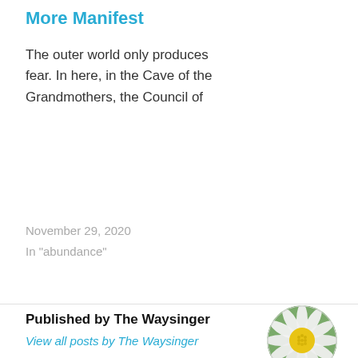More Manifest
The outer world only produces fear. In here, in the Cave of the Grandmothers, the Council of
November 29, 2020
In "abundance"
Published by The Waysinger
View all posts by The Waysinger
[Figure (photo): Circular avatar photo of a white daisy flower with a yellow center, with water droplets visible on the petals, against a soft green background.]